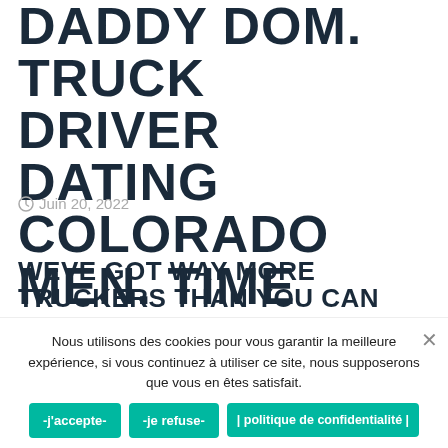DADDY DOM. TRUCK DRIVER DATING COLORADO MEN. TIME ATTRACTIVE US MEN AND WOMEN IN THE
Juin 20, 2022
WEVE GOT WAY MORE TRUCKERS THAN YOU CAN HANDLE THEREFORE ALREADY BEEN SELECT THE ONE WHOM SUITABLE FOR TRUCKER SINGLE MEN AND WOMEN
I figure it weird that they wanted an area of japanese
women that big date by the Miller. Present Posts from … vehicle rider dating texas men tuckdriver relationships texas men forty five forty five daddy
Nous utilisons des cookies pour vous garantir la meilleure expérience, si vous continuez à utiliser ce site, nous supposerons que vous en êtes satisfait.
-j'accepte-
-je refuse-
| politique de confidentialité |